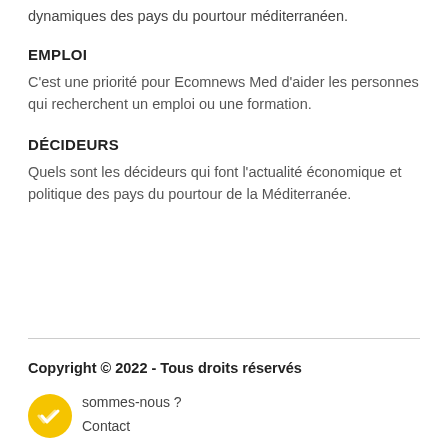dynamiques des pays du pourtour méditerranéen.
EMPLOI
C'est une priorité pour Ecomnews Med d'aider les personnes qui recherchent un emploi ou une formation.
DÉCIDEURS
Quels sont les décideurs qui font l'actualité économique et politique des pays du pourtour de la Méditerranée.
Copyright © 2022 - Tous droits réservés
sommes-nous ?
Contact